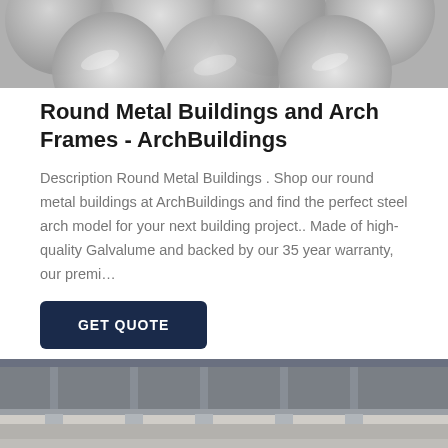[Figure (photo): Close-up of stacked shiny round metal discs/circles from above]
Round Metal Buildings and Arch Frames - ArchBuildings
Description Round Metal Buildings . Shop our round metal buildings at ArchBuildings and find the perfect steel arch model for your next building project.. Made of high-quality Galvalume and backed by our 35 year warranty, our premi…
GET QUOTE
[Figure (photo): Interior of a building with two large round teal/turquoise metal disc circles on a concrete floor, with metal structure in background]